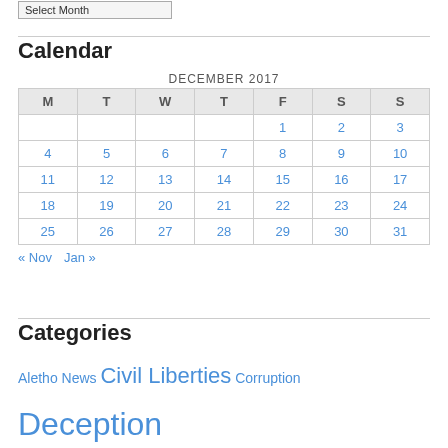Calendar
| M | T | W | T | F | S | S |
| --- | --- | --- | --- | --- | --- | --- |
|  |  |  |  | 1 | 2 | 3 |
| 4 | 5 | 6 | 7 | 8 | 9 | 10 |
| 11 | 12 | 13 | 14 | 15 | 16 | 17 |
| 18 | 19 | 20 | 21 | 22 | 23 | 24 |
| 25 | 26 | 27 | 28 | 29 | 30 | 31 |
« Nov   Jan »
Categories
Aletho News  Civil Liberties  Corruption  Deception  Economics  Environmentalism  Ethnic Cleansing,